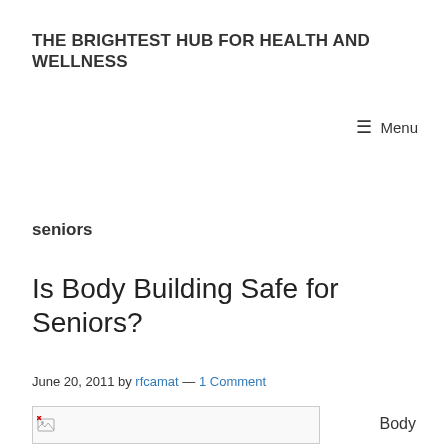THE BRIGHTEST HUB FOR HEALTH AND WELLNESS
≡ Menu
seniors
Is Body Building Safe for Seniors?
June 20, 2011 by rfcamat — 1 Comment
[Figure (photo): Broken image placeholder for article illustration]
Body